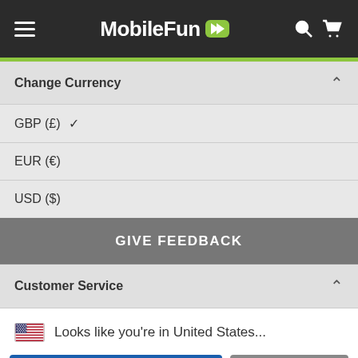MobileFun
Change Currency
GBP (£) ✓
EUR (€)
USD ($)
GIVE FEEDBACK
Customer Service
Looks like you're in United States...
SHOP THERE
DISMISS